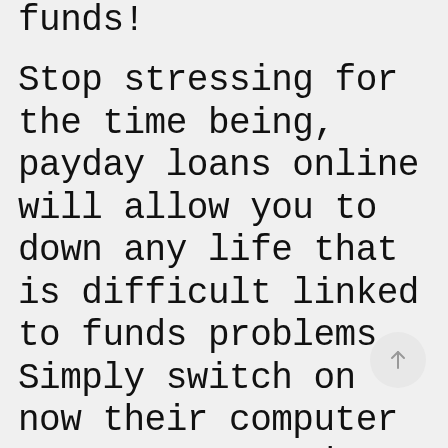funds! Stop stressing for the time being, payday loans online will allow you to down any life that is difficult linked to funds problems. Simply switch on now their computer or Computer and after a few fast necessary treatments get their funds loans and amount